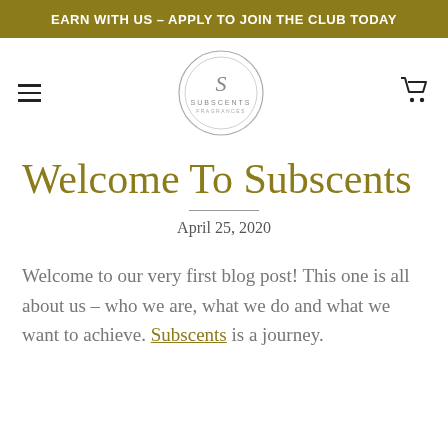EARN WITH US – APPLY TO JOIN THE CLUB TODAY
[Figure (logo): Subscents Fragrances circular logo with stylized S in center]
Welcome To Subscents
April 25, 2020
Welcome to our very first blog post! This one is all about us – who we are, what we do and what we want to achieve. Subscents is a journey.